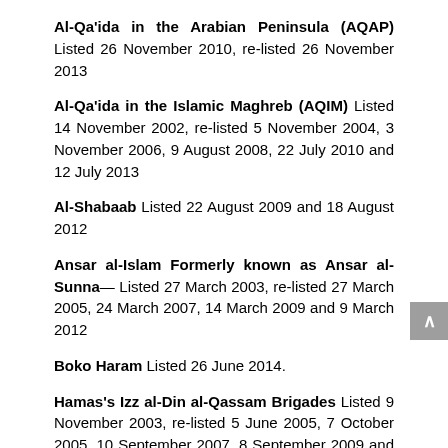Al-Qa'ida in the Arabian Peninsula (AQAP) Listed 26 November 2010, re-listed 26 November 2013
Al-Qa'ida in the Islamic Maghreb (AQIM) Listed 14 November 2002, re-listed 5 November 2004, 3 November 2006, 9 August 2008, 22 July 2010 and 12 July 2013
Al-Shabaab Listed 22 August 2009 and 18 August 2012
Ansar al-Islam Formerly known as Ansar al-Sunna— Listed 27 March 2003, re-listed 27 March 2005, 24 March 2007, 14 March 2009 and 9 March 2012
Boko Haram Listed 26 June 2014.
Hamas's Izz al-Din al-Qassam Brigades Listed 9 November 2003, re-listed 5 June 2005, 7 October 2005, 10 September 2007, 8 September 2009 and 18 August 2012